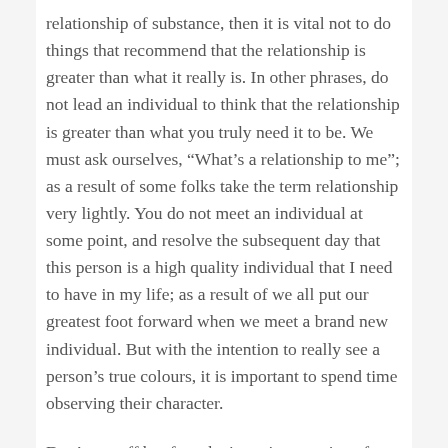relationship of substance, then it is vital not to do things that recommend that the relationship is greater than what it really is. In other phrases, do not lead an individual to think that the relationship is greater than what you truly need it to be. We must ask ourselves, “What’s a relationship to me”; as a result of some folks take the term relationship very lightly. You do not meet an individual at some point, and resolve the subsequent day that this person is a high quality individual that I need to have in my life; as a result of we all put our greatest foot forward when we meet a brand new individual. But with the intention to really see a person’s true colours, it is important to spend time observing their character.
Don’t run off but face the issue irrespective of how tensed the situation is. It’s important to stick together as